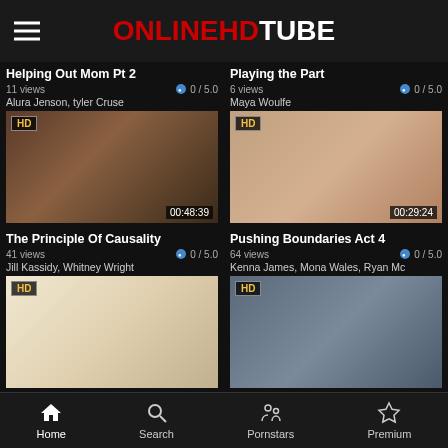ONLINEHDTUBE
Helping Out Mom Pt 2 | 11 views | 0 / 5.0 | Alura Jenson, tyler Cruse | 00:48:39
Playing the Part | 6 views | 0 / 5.0 | Maya Woulfe | 00:29:24
[Figure (screenshot): Video thumbnail for Helping Out Mom Pt 2]
[Figure (screenshot): Video thumbnail for Playing the Part]
The Principle Of Causality | 41 views | 0 / 5.0 | Jill Kassidy, Whitney Wright
Pushing Boundaries Act 4 | 64 views | 0 / 5.0 | Kenna James, Mona Wales, Ryan Mc
[Figure (screenshot): Video thumbnail for The Principle Of Causality]
[Figure (screenshot): Video thumbnail for Pushing Boundaries Act 4]
Home | Search | Pornstars | Premium